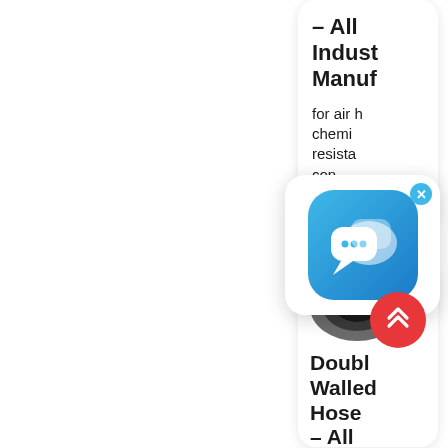– All Indust Manuf
for air h chemi resista con air h
[Figure (screenshot): Chat app icon popup with blue rounded square icon showing two speech bubbles, with an X close button, overlaid on the card content.]
[Figure (photo): Circular thumbnail photo of a double-walled hose viewed from end, showing dark interior.]
Doubl Walled Hose – All Indust
[Figure (other): Red circular scroll-to-top button with double chevron up arrow icon.]